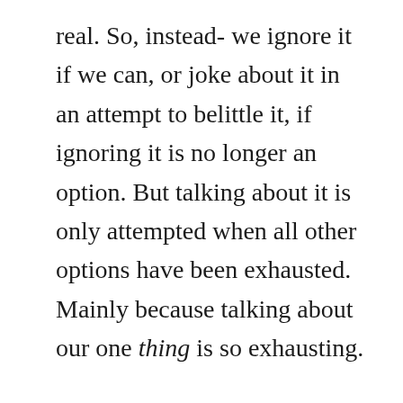real. So, instead- we ignore it if we can, or joke about it in an attempt to belittle it, if ignoring it is no longer an option. But talking about it is only attempted when all other options have been exhausted. Mainly because talking about our one thing is so exhausting.

I ruminate about everything.